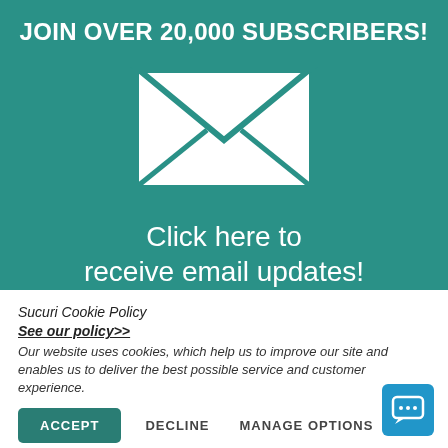JOIN OVER 20,000 SUBSCRIBERS!
[Figure (illustration): White envelope icon on teal background]
Click here to receive email updates!
Sucuri Cookie Policy
See our policy>>
Our website uses cookies, which help us to improve our site and enables us to deliver the best possible service and customer experience.
ACCEPT   DECLINE   MANAGE OPTIONS